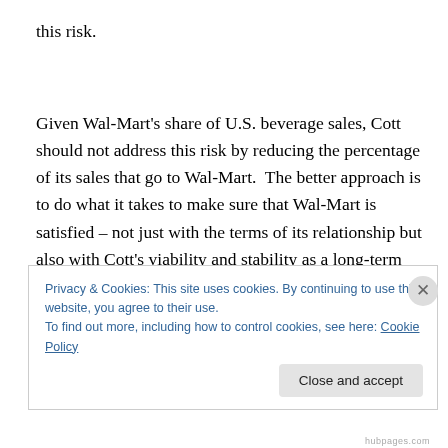this risk.
Given Wal-Mart's share of U.S. beverage sales, Cott should not address this risk by reducing the percentage of its sales that go to Wal-Mart.  The better approach is to do what it takes to make sure that Wal-Mart is satisfied – not just with the terms of its relationship but also with Cott's viability and stability as a long-term partner.  In a normal
Privacy & Cookies: This site uses cookies. By continuing to use this website, you agree to their use.
To find out more, including how to control cookies, see here: Cookie Policy